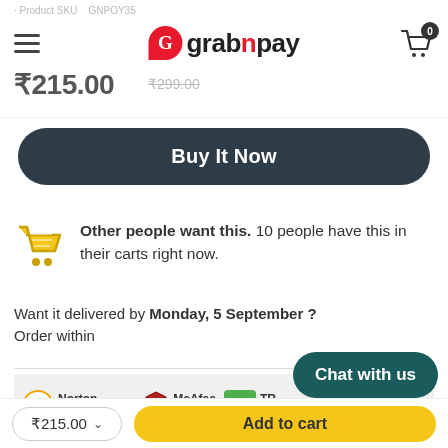grabnpay — Product SKU: GNPOY35, Price ₹215.00, Old price ₹299.00, Cart 0
Buy It Now
Other people want this. 10 people have this in their carts right now.
Want it delivered by Monday, 5 September ? Order within
[Figure (screenshot): Security badges: Norton, McAfee SECURE, Trustwave verified]
Chat with us
₹215.00 ∨  Add to cart